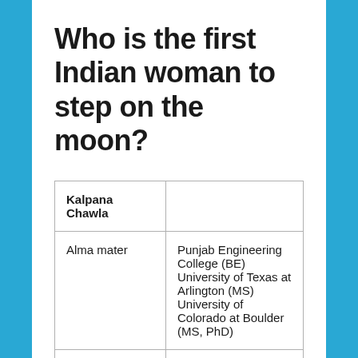Who is the first Indian woman to step on the moon?
| Kalpana Chawla |  |
| Alma mater | Punjab Engineering College (BE) University of Texas at Arlington (MS) University of Colorado at Boulder (MS, PhD) |
| Awards |  |
| Space ... |  |